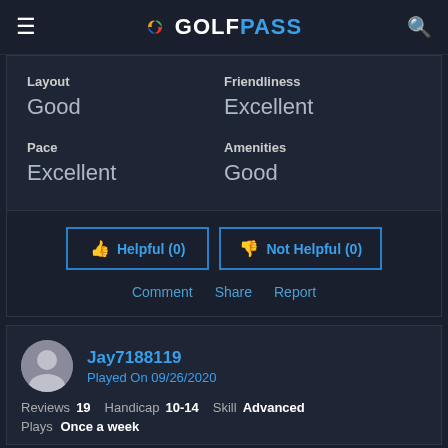GOLFPASS
| Category | Rating |
| --- | --- |
| Layout | Good |
| Friendliness | Excellent |
| Pace | Excellent |
| Amenities | Good |
Helpful (0)
Not Helpful (0)
Comment  Share  Report
Jay7188119
Played On 09/26/2020
Reviews 19  Handicap 10-14  Skill Advanced
Plays Once a week